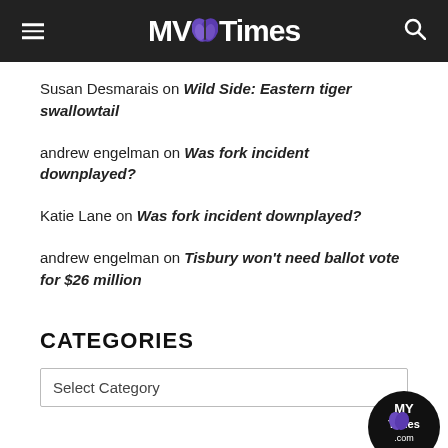MV Times
Susan Desmarais on Wild Side: Eastern tiger swallowtail
andrew engelman on Was fork incident downplayed?
Katie Lane on Was fork incident downplayed?
andrew engelman on Tisbury won't need ballot vote for $26 million
CATEGORIES
Select Category